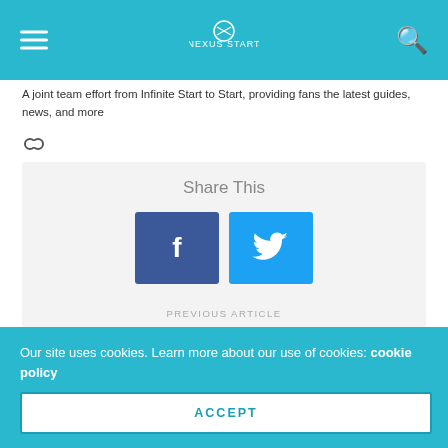[Nexus Start logo] hamburger menu, search icon
A joint team effort from Infinite Start to Start, providing fans the latest guides, news, and more
[Figure (other): Link/chain icon]
Share This
[Figure (other): Facebook share button (blue square with f icon) and Twitter share button (cyan square with bird icon)]
PREVIOUS ARTICLE
MechWarrior 5: Mercenaries coming to PlayStation on September 23
NEXT ARTICLE
Our site uses cookies. Learn more about our use of cookies: cookie policy
ACCEPT